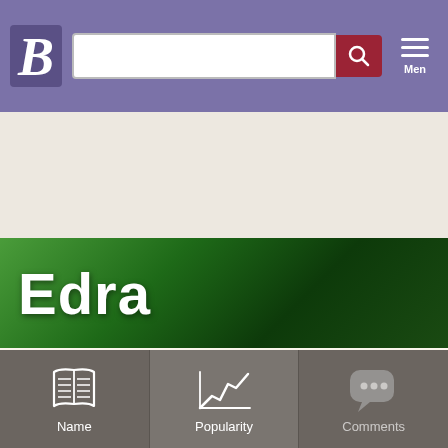Behindthename.com header with logo, search bar, and menu
Edra
Popularity (feminine) in the United States
Settings Help
names to compare | Compare
[Figure (continuous-plot): Line chart showing popularity of the name Edra (feminine) in the United States over time. Y-axis shows percentages 0.016% and 0.020% visible.]
Name | Popularity | Comments